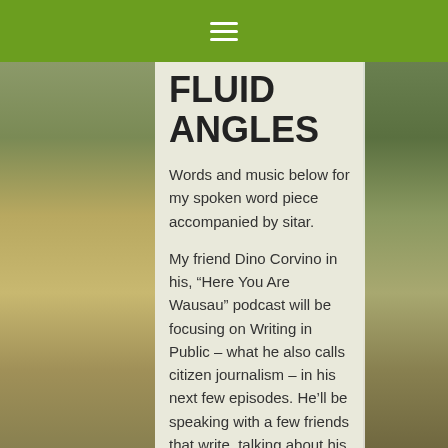☰
FLUID ANGLES
Words and music below for my spoken word piece accompanied by sitar.
My friend Dino Corvino in his, “Here You Are Wausau” podcast will be focusing on Writing in Public – what he also calls citizen journalism – in his next few episodes. He’ll be speaking with a few friends that write, talking about his own writing, and will publish these podcasts soon.
I spoke with him regarding aspects of writing: process, ego, why we write, how we started, and more. It was lots of fun,